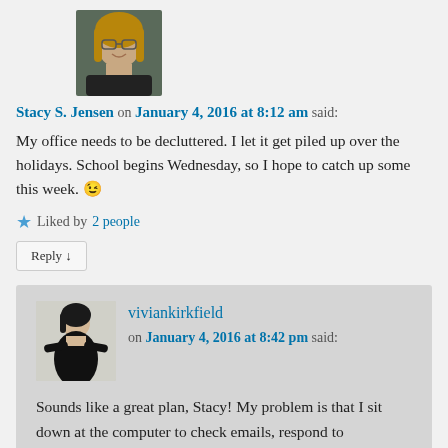[Figure (photo): Profile photo of Stacy S. Jensen - woman with glasses and long hair]
Stacy S. Jensen on January 4, 2016 at 8:12 am said:
My office needs to be decluttered. I let it get piled up over the holidays. School begins Wednesday, so I hope to catch up some this week. 😉
★ Liked by 2 people
Reply ↓
[Figure (photo): Profile photo of viviankirkfield - woman in black dress]
viviankirkfield on January 4, 2016 at 8:42 pm said:
Sounds like a great plan, Stacy! My problem is that I sit down at the computer to check emails, respond to comments…and then pull out whatever story/stories I am presently revising…and that's all she wrote…because I'd much rather be